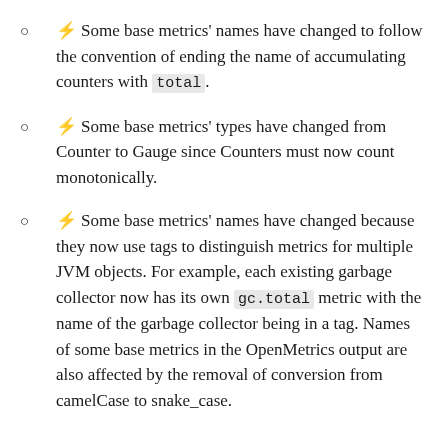⚡ Some base metrics' names have changed to follow the convention of ending the name of accumulating counters with total.
⚡ Some base metrics' types have changed from Counter to Gauge since Counters must now count monotonically.
⚡ Some base metrics' names have changed because they now use tags to distinguish metrics for multiple JVM objects. For example, each existing garbage collector now has its own gc.total metric with the name of the garbage collector being in a tag. Names of some base metrics in the OpenMetrics output are also affected by the removal of conversion from camelCase to snake_case.